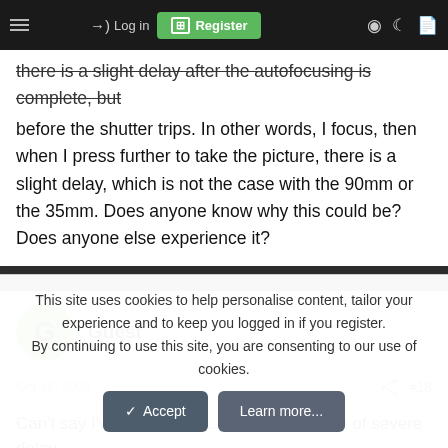Log in | Register
there is a slight delay after the autofocusing is complete, but before the shutter trips. In other words, I focus, then when I press further to take the picture, there is a slight delay, which is not the case with the 90mm or the 35mm. Does anyone know why this could be? Does anyone else experience it?
Guest
Oct 18, 2002  #18
Can't say I've noticed that. I did have a case of severe delay
This site uses cookies to help personalise content, tailor your experience and to keep you logged in if you register.
By continuing to use this site, you are consenting to our use of cookies.